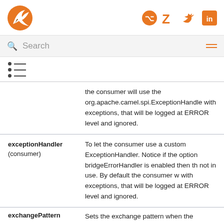Logo and navigation icons (GitHub, Zulip, Twitter, LinkedIn)
Search
[Figure (other): Table of contents icon]
|  |  |
| --- | --- |
|  | the consumer will use the org.apache.camel.spi.ExceptionHandler with exceptions, that will be logged at ERROR level and ignored. |
| exceptionHandler (consumer) | To let the consumer use a custom ExceptionHandler. Notice if the option bridgeErrorHandler is enabled then this option is not in use. By default the consumer will deal with exceptions, that will be logged at ERROR level and ignored. |
| exchangePattern | Sets the exchange pattern when the |